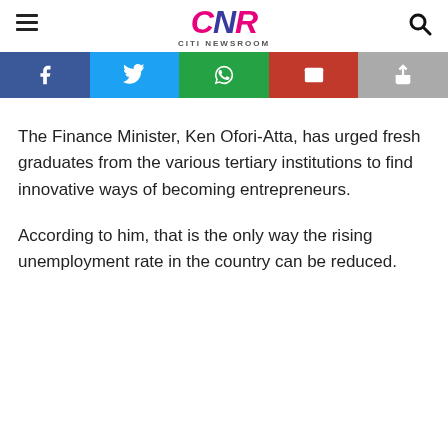CNR CITI NEWSROOM
The Finance Minister, Ken Ofori-Atta, has urged fresh graduates from the various tertiary institutions to find innovative ways of becoming entrepreneurs.
According to him, that is the only way the rising unemployment rate in the country can be reduced.